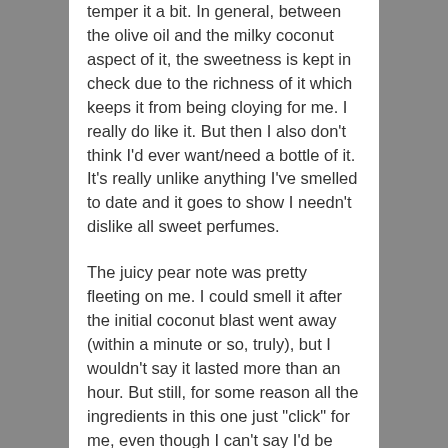temper it a bit. In general, between the olive oil and the milky coconut aspect of it, the sweetness is kept in check due to the richness of it which keeps it from being cloying for me. I really do like it. But then I also don't think I'd ever want/need a bottle of it. It's really unlike anything I've smelled to date and it goes to show I needn't dislike all sweet perfumes.
The juicy pear note was pretty fleeting on me. I could smell it after the initial coconut blast went away (within a minute or so, truly), but I wouldn't say it lasted more than an hour. But still, for some reason all the ingredients in this one just "click" for me, even though I can't say I'd be tempted by a full bottle.